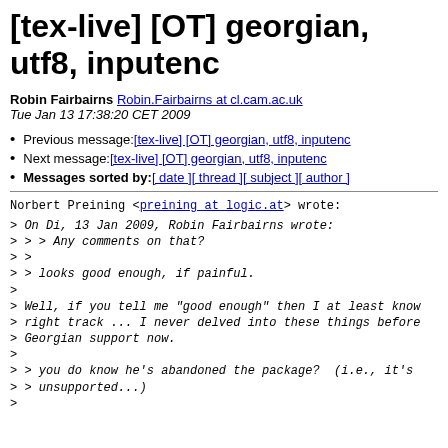[tex-live] [OT] georgian, utf8, inputenc
Robin Fairbairns Robin.Fairbairns at cl.cam.ac.uk
Tue Jan 13 17:38:20 CET 2009
Previous message: [tex-live] [OT] georgian, utf8, inputenc
Next message: [tex-live] [OT] georgian, utf8, inputenc
Messages sorted by: [ date ] [ thread ] [ subject ] [ author ]
Norbert Preining <preining at logic.at> wrote:
> On Di, 13 Jan 2009, Robin Fairbairns wrote:
> > > Any comments on that?
> >
> > looks good enough, if painful.
>
> Well, if you tell me "good enough" then I at least know
> right track ... I never delved into these things before
> Georgian support now.
>
> > you do know he's abandoned the package?  (i.e., it's
> > unsupported...)
>